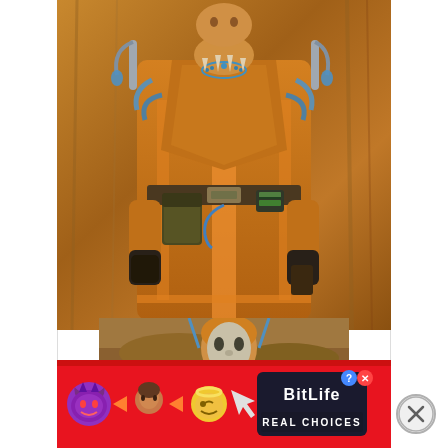[Figure (screenshot): Video game character screenshot showing a figure in orange-brown robes with blue sci-fi accents, holsters, belt with pouches, black gloves, standing in a desert/sandy environment. Appears to be from Star Wars: The Old Republic or similar sci-fi RPG.]
[Figure (screenshot): Second smaller screenshot below the first, showing the same character from a different angle or a close-up, with sandy rocky background.]
[Figure (screenshot): Advertisement banner at the bottom for BitLife game, featuring emoji characters (devil, person, angel) with text 'BitLife REAL CHOICES' on red background, with a close/X button.]